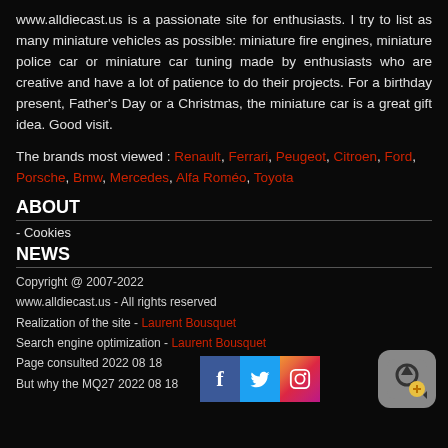www.alldiecast.us is a passionate site for enthusiasts. I try to list as many miniature vehicles as possible: miniature fire engines, miniature police car or miniature car tuning made by enthusiasts who are creative and have a lot of patience to do their projects. For a birthday present, Father's Day or a Christmas, the miniature car is a great gift idea. Good visit.
The brands most viewed : Renault, Ferrari, Peugeot, Citroen, Ford, Porsche, Bmw, Mercedes, Alfa Roméo, Toyota
ABOUT
- Cookies
NEWS
Copyright @ 2007-2022
www.alldiecast.us - All rights reserved
Realization of the site - Laurent Bousquet
Search engine optimization - Laurent Bousquet
Page consulted 2022 08 18
But why the MQ27 2022 08 18